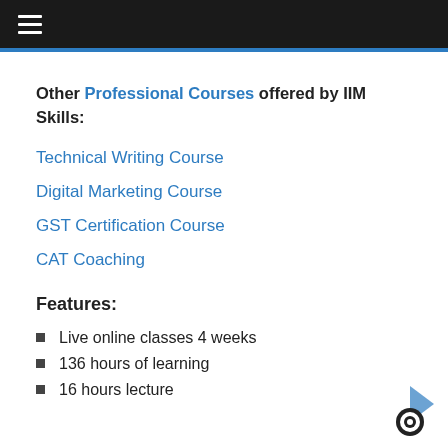≡ (hamburger menu)
Other Professional Courses offered by IIM Skills:
Technical Writing Course
Digital Marketing Course
GST Certification Course
CAT Coaching
Features:
Live online classes 4 weeks
136 hours of learning
16 hours lecture